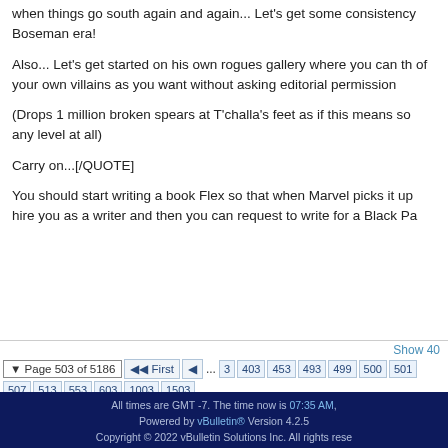when things go south again and again... Let's get some consistency Boseman era!
Also... Let's get started on his own rogues gallery where you can th of your own villains as you want without asking editorial permission
(Drops 1 million broken spears at T'challa's feet as if this means so any level at all)
Carry on...[/QUOTE]
You should start writing a book Flex so that when Marvel picks it up hire you as a writer and then you can request to write for a Black Pa
Show 40
Page 503 of 5186  First  ...  3  403  453  493  499  500  501  507  513  553  603  1003  1503
All times are GMT -7. The time now is 07:35 AM. Powered by vBulletin® Version 4.2.5 Copyright © 2022 vBulletin Solutions Inc. All rights reserved. © 1995 - 2022 Valnet, Inc All Rights Reserved.